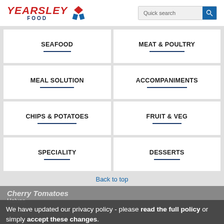Yearsley Food — Quick search
SEAFOOD
MEAT & POULTRY
MEAL SOLUTION
ACCOMPANIMENTS
CHIPS & POTATOES
FRUIT & VEG
SPECIALITY
DESSERTS
Back to top
Cherry Tomatoes
Halves
Bulk
1 x 10kg
We have updated our privacy policy - please read the full policy or simply accept these changes.